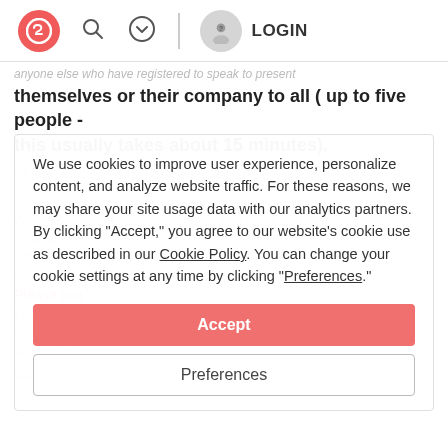Schibsted logo | Search icon | Chevron icon | Divider | User avatar | LOGIN
anyone else who have registered to speak to present themselves or their company to all ( up to five people - this usually takes about 15 minutes).
07:45 - 9:00 pm further networking
We use cookies to improve user experience, personalize content, and analyze website traffic. For these reasons, we may share your site usage data with our analytics partners. By clicking “Accept,” you agree to our website’s cookie use as described in our Cookie Policy. You can change your cookie settings at any time by clicking “Preferences.”
Accept
Preferences
Please join YOUR Network here.
I very much look forward to seeing you and your friends and colleagues to make meaningful business and social contacts.
With best wishes